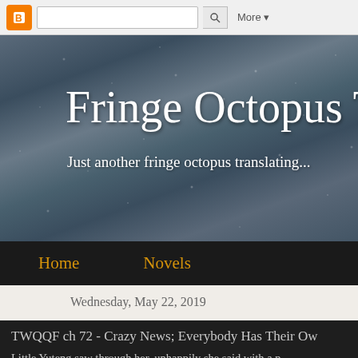[Figure (screenshot): Blogger navigation bar with orange B icon, search box, and More button]
Fringe Octopus Trans
Just another fringe octopus translating...
Home  Novels
Wednesday, May 22, 2019
TWQQF ch 72 - Crazy News; Everybody Has Their Ow
Little Yuteng saw through her, unhappily she said with a p don't you be thinking that just because you won't kill then same courtesy. These are all bandits and outlaws. If snak there'd be nobody alive in Willow Village right now. And n Villagers, your family as well."